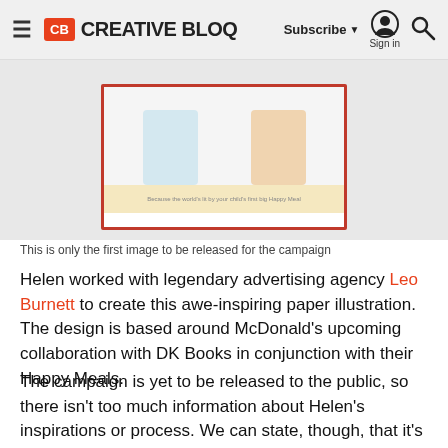Creative Bloq — Subscribe | Sign in | Search
[Figure (photo): Partial view of a McDonald's Happy Meal book promotional image showing illustrated characters on a red-bordered book/box]
This is only the first image to be released for the campaign
Helen worked with legendary advertising agency Leo Burnett to create this awe-inspiring paper illustration. The design is based around McDonald's upcoming collaboration with DK Books in conjunction with their Happy Meals.
The campaign is yet to be released to the public, so there isn't too much information about Helen's inspirations or process. We can state, though, that it's one of the most stunning print campaigns we've ever